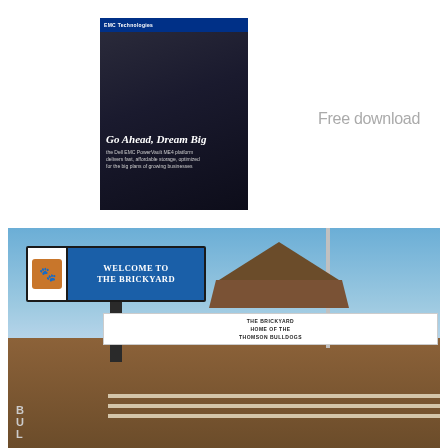[Figure (photo): Dell EMC Technologies brochure cover showing two people near server equipment, titled 'Go Ahead, Dream Big' about Dell EMC PowerVault ME4 platform delivering fast, affordable storage optimized for big plans of growing businesses]
Free download
[Figure (photo): Outdoor photo of The Brickyard venue entrance sign reading 'Welcome to The Brickyard' with a logo, and a gate arch showing 'THE BRICKYARD HOME OF THE THOMSON BULLDOGS' with fencing and blue sky in background]